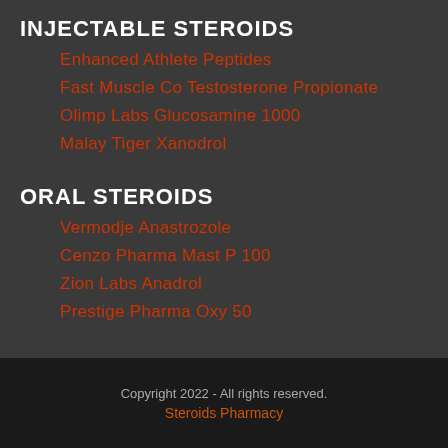INJECTABLE STEROIDS
Enhanced Athlete Peptides
Fast Muscle Co Testosterone Propionate
Olimp Labs Glucosamine 1000
Malay Tiger Xanodrol
ORAL STEROIDS
Vermodje Anastrozole
Cenzo Pharma Mast P 100
Zion Labs Anadrol
Prestige Pharma Oxy 50
Copyright 2022 - All rights reserved.
Steroids Pharmacy